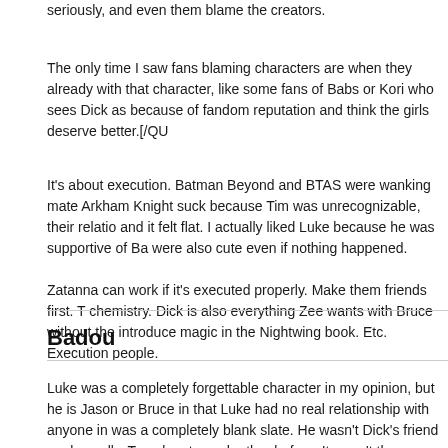seriously, and even them blame the creators.
The only time I saw fans blaming characters are when they already with that character, like some fans of Babs or Kori who sees Dick as because of fandom reputation and think the girls deserve better.[/QU
It's about execution. Batman Beyond and BTAS were wanking mate Arkham Knight suck because Tim was unrecognizable, their relatio and it felt flat. I actually liked Luke because he was supportive of Ba were also cute even if nothing happened.
Badou
Luke was a completely forgettable character in my opinion, but he is Jason or Bruce in that Luke had no real relationship with anyone in was a completely blank slate. He wasn't Dick's friend or close ally. T spoken to each other before. It wasn't the same as Bruce dating Ba Jason hook up with Babs in the current comics, or having a Roy ho Where the relationship crosses a line where it feels like betraying a Maybe you like stories like that, but the majority of fans don't. All the off fans and stories where their goal is to upset fans don't tend to be of characters out there to date where you don't need to write storie